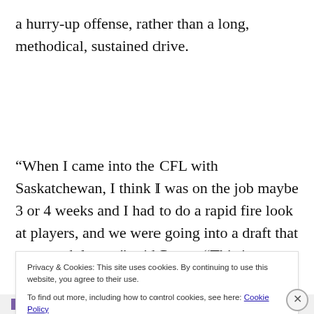a hurry-up offense, rather than a long, methodical, sustained drive.
“When I came into the CFL with Saskatchewan, I think I was on the job maybe 3 or 4 weeks and I had to do a rapid fire look at players, and we were going into a draft that was much larger,” said Popp.  “This is my 22nd year in Canada and the facilities have been built, there’s places
Privacy & Cookies: This site uses cookies. By continuing to use this website, you agree to their use.
To find out more, including how to control cookies, see here: Cookie Policy